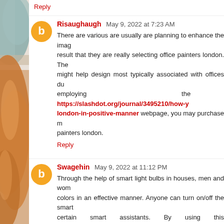Reply
Risaughaugh May 9, 2022 at 7:23 AM
There are various are usually are planning to enhance the image result that they are really selecting office painters london. The might help design most typically associated with offices du employing the https://slashdot.org/journal/3495210/how-y london-in-positive-manner webpage, you may purchase m painters london.
Reply
Swagehin May 9, 2022 at 11:12 PM
Through the help of smart light bulbs in houses, men and wom colors in an effective manner. Anyone can turn on/off the smart certain smart assistants. By using this http://blogs.rediff.com about-smart-bulb-revealed/ site, an individual can obtain more bulbs.
Reply
Risaughaugh May 10, 2022 at 12:25 AM